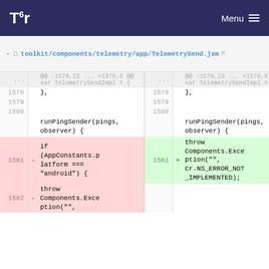Tor — Menu
toolkit/components/telemetry/app/TelemetrySend.jsm
| line-left | marker-left | code-left | line-right | marker-right | code-right |
| --- | --- | --- | --- | --- | --- |
| ... |  | @@ -1578,23 ... +1578,6 @@ var TelemetrySendImpl = { | ... |  | @@ -1578,23 ... +1578,6 @@ var TelemetrySendImpl = { |
| 1578 |  |     }, | 1578 |  |     }, |
| 1579 |  |  | 1579 |  |  |
| 1580 |  |  | 1580 |  |  |
|  |  | runPingSender(pings, observer) { |  |  | runPingSender(pings, observer) { |
| 1581 | - |     if (AppConstants.platform === "android") { | 1581 | + |     throw Components.Exception("", Cr.NS_ERROR_NOT_IMPLEMENTED); |
| 1582 | - |     throw Components.Exception("", |  |  |  |